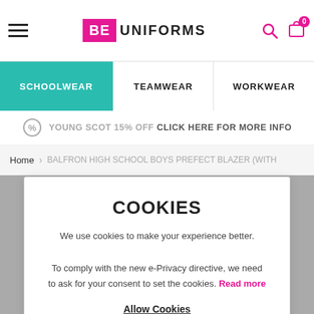[Figure (logo): BE Uniforms logo with pink 'BE' square and bold 'UNIFORMS' text]
SCHOOLWEAR | TEAMWEAR | WORKWEAR navigation bar
YOUNG SCOT 15% OFF CLICK HERE FOR MORE INFO
Home > BALFRON HIGH SCHOOL BOYS PREFECT BLAZER (WITH
COOKIES
We use cookies to make your experience better.
To comply with the new e-Privacy directive, we need to ask for your consent to set the cookies. Read more
Allow Cookies